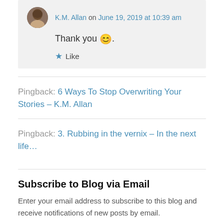K.M. Allan on June 19, 2019 at 10:39 am
Thank you 😊.
★ Like
Pingback: 6 Ways To Stop Overwriting Your Stories – K.M. Allan
Pingback: 3. Rubbing in the vernix – In the next life…
Subscribe to Blog via Email
Enter your email address to subscribe to this blog and receive notifications of new posts by email.